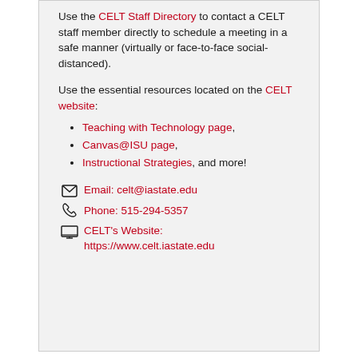Use the CELT Staff Directory to contact a CELT staff member directly to schedule a meeting in a safe manner (virtually or face-to-face social-distanced).
Use the essential resources located on the CELT website:
Teaching with Technology page,
Canvas@ISU page,
Instructional Strategies, and more!
Email: celt@iastate.edu
Phone: 515-294-5357
CELT's Website: https://www.celt.iastate.edu